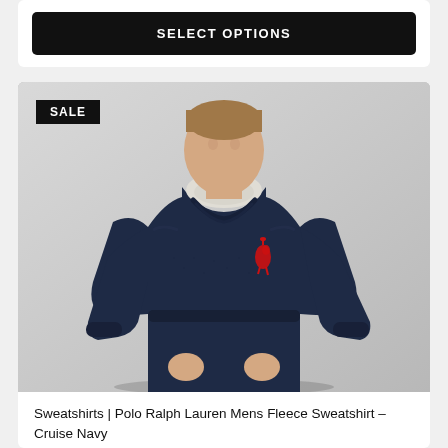SELECT OPTIONS
[Figure (photo): Man wearing a navy Polo Ralph Lauren fleece crew-neck sweatshirt with red pony logo, layered over a white collared shirt and dark jeans, against a light grey background. A 'SALE' badge appears in the top-left corner of the product card.]
Sweatshirts | Polo Ralph Lauren Mens Fleece Sweatshirt – Cruise Navy